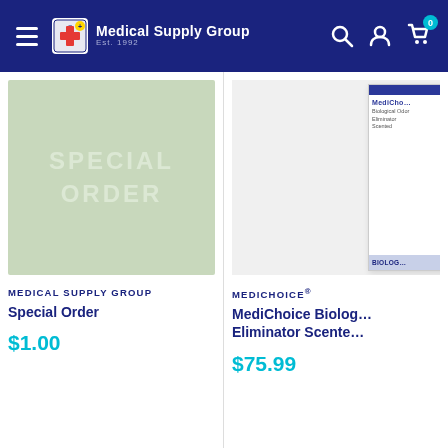Medical Supply Group — Est. 1992
[Figure (photo): Special Order placeholder image — green background with text SPECIAL ORDER]
MEDICAL SUPPLY GROUP
Special Order
$1.00
[Figure (photo): MediChoice product bottle — partially visible on right side]
MEDICHOICE®
MediChoice Biolog… Eliminator Scente…
$75.99